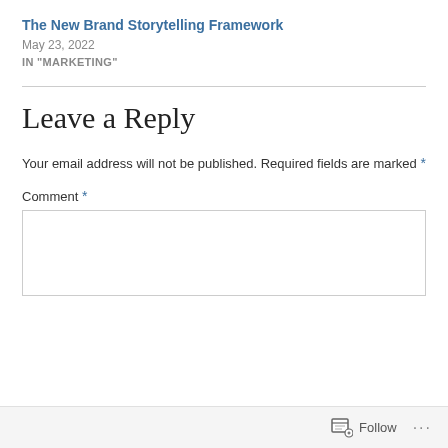The New Brand Storytelling Framework
May 23, 2022
IN "MARKETING"
Leave a Reply
Your email address will not be published. Required fields are marked *
Comment *
Follow ...